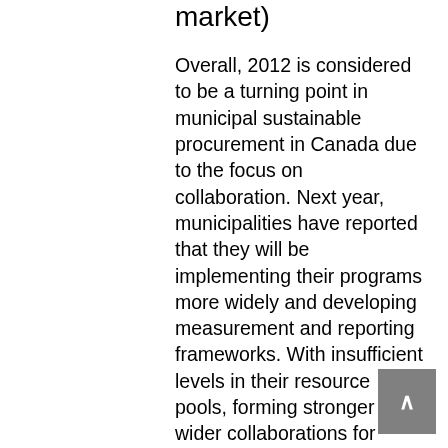market)
Overall, 2012 is considered to be a turning point in municipal sustainable procurement in Canada due to the focus on collaboration. Next year, municipalities have reported that they will be implementing their programs more widely and developing measurement and reporting frameworks. With insufficient levels in their resource pools, forming stronger and wider collaborations for sustainable purchasing will be more important than ever.